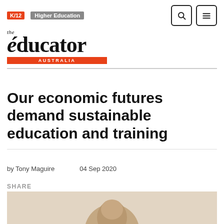K/12  Higher Education — the educator AUSTRALIA
Our economic futures demand sustainable education and training
by Tony Maguire    04 Sep 2020
SHARE
[Figure (photo): Photo of a person, cropped, partially visible at bottom of page]